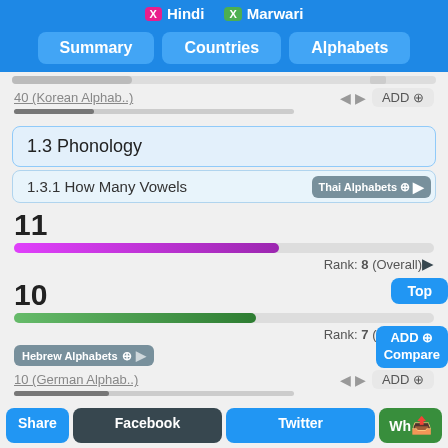X Hindi  X Marwari
Summary | Countries | Alphabets
40 (Korean Alphab..)   ◀ ▶  ADD ⊕
1.3 Phonology
1.3.1 How Many Vowels
Thai Alphabets ⊕ ▶
11
Rank: 8 (Overall) ▶
10
Rank: 7 (Overall) ▶
Hebrew Alphabets ⊕ ▶
Top
10 (German Alphab..)   ◀ ▶  ADD ⊕
ADD ⊕ Compare
1.3.2 How Many Consonants
Share  Facebook  Twitter  Wh<